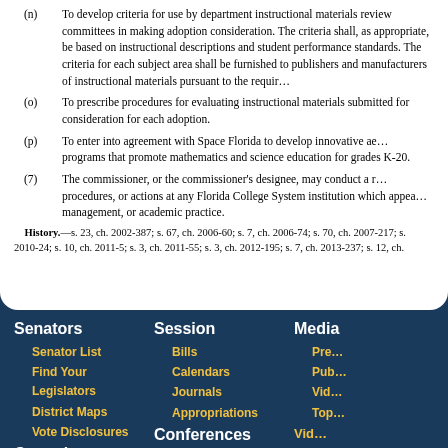(n) To develop criteria for use by department instructional materials review committees in making adoption consideration. The criteria shall, as appropriate, be based on instructional descriptions and student performance standards. The criteria for each subject area shall be furnished to publishers and manufacturers of instructional materials pursuant to the requirements of this part.
(o) To prescribe procedures for evaluating instructional materials submitted for consideration for each adoption.
(p) To enter into agreement with Space Florida to develop innovative aerospace programs that promote mathematics and science education for grades K-20.
(7) The commissioner, or the commissioner's designee, may conduct a review of the policies, procedures, or actions at any Florida College System institution which appear to reflect unsound fiscal management, or academic practice.
History.—s. 23, ch. 2002-387; s. 67, ch. 2006-60; s. 7, ch. 2006-74; s. 70, ch. 2007-217; s. ... 2010-24; s. 10, ch. 2011-5; s. 3, ch. 2011-55; s. 3, ch. 2012-195; s. 7, ch. 2013-237; s. 12, ch. ...
Senators | Senator List | Find Your Legislators | District Maps | Vote Disclosures | Committees | Session | Bills | Calendars | Journals | Appropriations | Conferences | Media | Press | Publications | Video | Topics | Video